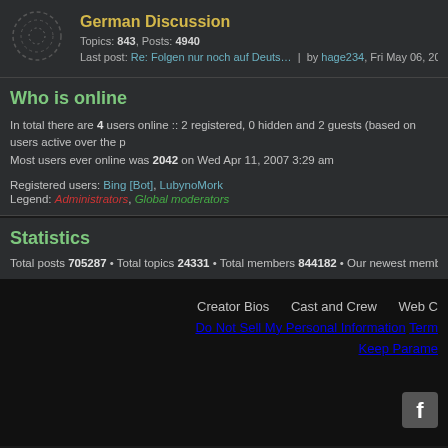German Discussion
Topics: 843, Posts: 4940
Last post: Re: Folgen nur noch auf Deuts… | by hage234, Fri May 06, 2022 10:19 am
Who is online
In total there are 4 users online :: 2 registered, 0 hidden and 2 guests (based on users active over the p
Most users ever online was 2042 on Wed Apr 11, 2007 3:29 am
Registered users: Bing [Bot], LubynoMork
Legend: Administrators, Global moderators
Statistics
Total posts 705287 • Total topics 24331 • Total members 844182 • Our newest member Meliodass78
Creator Bios   Cast and Crew   Web C
Do Not Sell My Personal Information   Term
Keep Parame